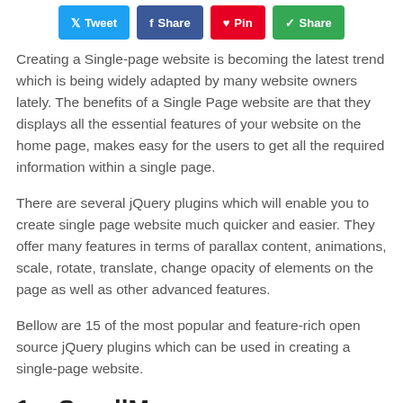[Figure (other): Social share buttons row: Tweet (blue), Share (blue/Facebook), Pin (red/Pinterest), Share (green)]
Creating a Single-page website is becoming the latest trend which is being widely adapted by many website owners lately. The benefits of a Single Page website are that they displays all the essential features of your website on the home page, makes easy for the users to get all the required information within a single page.
There are several jQuery plugins which will enable you to create single page website much quicker and easier. They offer many features in terms of parallax content, animations, scale, rotate, translate, change opacity of elements on the page as well as other advanced features.
Bellow are 15 of the most popular and feature-rich open source jQuery plugins which can be used in creating a single-page website.
1 – ScrollMe
[Figure (other): Yellow/light yellow rectangle image placeholder at the bottom of the page]